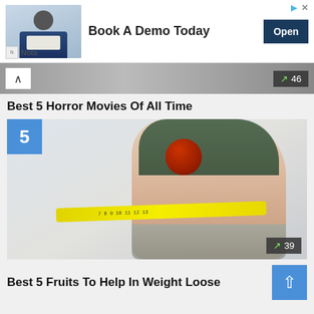[Figure (screenshot): Advertisement banner: photo of a man in glasses at a desk, text 'Book A Demo Today', dark blue 'Open' button, 'Nota' brand label at bottom left]
[Figure (screenshot): Trending bar with upward arrow on left, dark overlay with trend icon and count '46' on right]
Best 5 Horror Movies Of All Time
[Figure (photo): Person holding a red apple and measuring their waist with a yellow tape measure. Number badge '5' in blue square top-left. Trending count badge '39' bottom-right.]
Best 5 Fruits To Help In Weight Loose